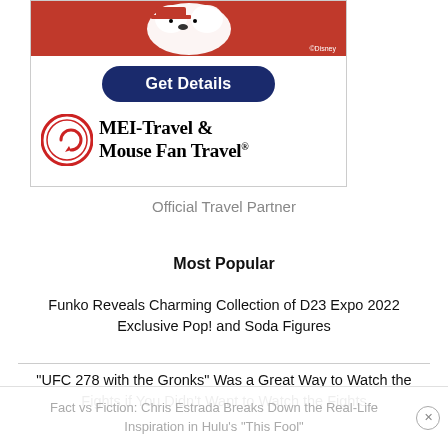[Figure (advertisement): MEI-Travel & Mouse Fan Travel advertisement banner with 'Get Details' button and Disney credit. Red top section, navy blue rounded button, company logo with red circular arrow icon and bold serif text.]
Official Travel Partner
Most Popular
Funko Reveals Charming Collection of D23 Expo 2022 Exclusive Pop! and Soda Figures
"UFC 278 with the Gronks" Was a Great Way to Watch the Fights if You Didn't Want to Watch the Fights
Fact vs Fiction: Chris Estrada Breaks Down the Real-Life Inspiration in Hulu's "This Fool"